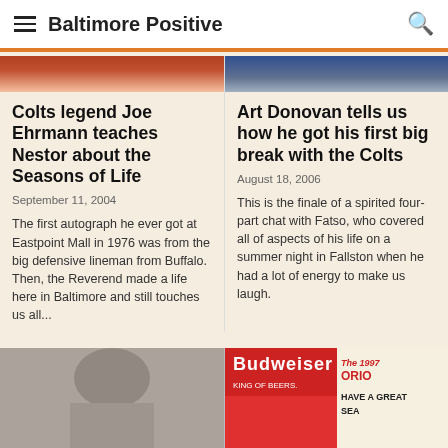Baltimore Positive
Colts legend Joe Ehrmann teaches Nestor about the Seasons of Life
September 11, 2004
The first autograph he ever got at Eastpoint Mall in 1976 was from the big defensive lineman from Buffalo. Then, the Reverend made a life here in Baltimore and still touches us all...
Art Donovan tells us how he got his first big break with the Colts
August 18, 2006
This is the finale of a spirited four-part chat with Fatso, who covered all of aspects of his life on a summer night in Fallston when he had a lot of energy to make us laugh.
[Figure (photo): Black and white photo, appears to show a person from behind]
[Figure (photo): Budweiser advertisement with text 'The 1997 ORIOLES HAVE A GREAT SEA...' and 'KING OF BEERS']